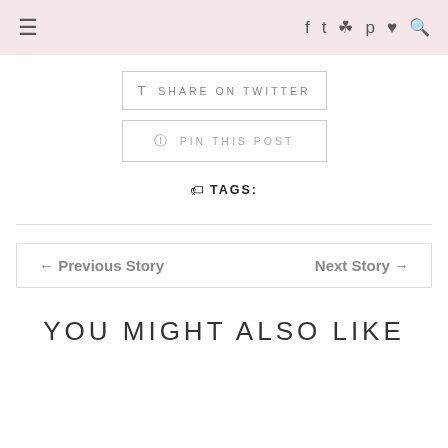≡ f 𝕥 📷 p ♥ 🔍
SHARE ON TWITTER
PIN THIS POST
🏷 TAGS:
← Previous Story   Next Story →
YOU MIGHT ALSO LIKE